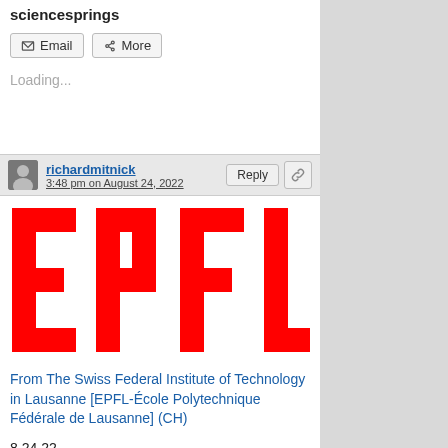sciencesprings
Email  More
Loading...
richardmitnick
3:48 pm on August 24, 2022
[Figure (logo): EPFL logo — bold red letters EPFL on white background]
From The Swiss Federal Institute of Technology in Lausanne [EPFL-École Polytechnique Fédérale de Lausanne] (CH)
8.24.22
Andrea Testa
Guanhao Huang
[Figure (photo): Dark image with bright yellow/golden light streak, appears to be a scientific or experimental image]